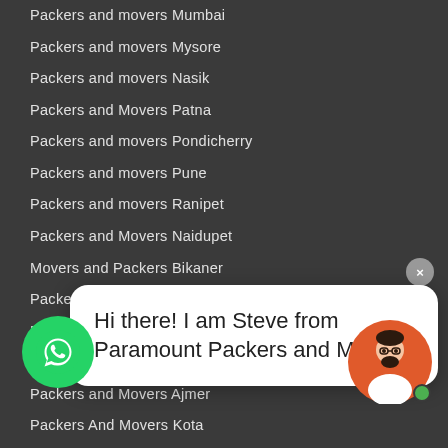Packers and movers Mumbai
Packers and movers Mysore
Packers and movers Nasik
Packers and Movers Patna
Packers and movers Pondicherry
Packers and movers Pune
Packers and movers Ranipet
Packers and Movers Naidupet
Movers and Packers Bikaner
Packers and Movers Indore
Packers And Movers Perambalur
Packers and Movers Tindivanam
Packers and Movers Ajmer
Packers And Movers Kota
Packers And Movers Bhiwa…
Packers And Movers Tirupp…
Cuddalore Packers and Mo…
Trichy Packers and Movers…
Hi there! I am Steve from Paramount Packers and Movers
Packers and movers Raipur
Packers and movers Salem